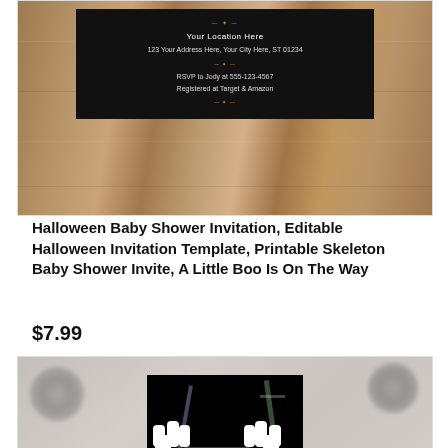[Figure (photo): Photo of a Halloween-themed baby shower invitation card placed on a wooden table surface. The invitation is dark/black with orange accent lines and white text showing placeholder event details.]
Halloween Baby Shower Invitation, Editable Halloween Invitation Template, Printable Skeleton Baby Shower Invite, A Little Boo Is On The Way
$7.99
[Figure (photo): Photo of a Halloween-themed baby shower invitation card featuring skeleton hands holding an ultrasound image, displayed against a blurred background with paper flower decorations. A circular scroll-up button appears in the bottom right corner.]